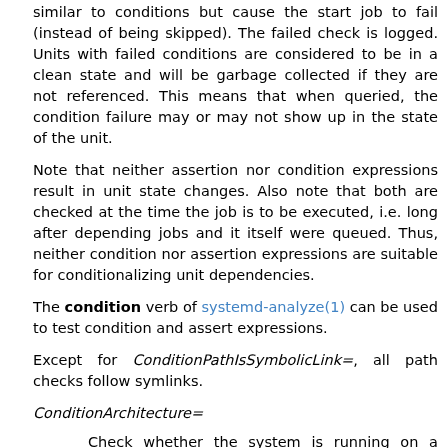similar to conditions but cause the start job to fail (instead of being skipped). The failed check is logged. Units with failed conditions are considered to be in a clean state and will be garbage collected if they are not referenced. This means that when queried, the condition failure may or may not show up in the state of the unit.
Note that neither assertion nor condition expressions result in unit state changes. Also note that both are checked at the time the job is to be executed, i.e. long after depending jobs and it itself were queued. Thus, neither condition nor assertion expressions are suitable for conditionalizing unit dependencies.
The condition verb of systemd-analyze(1) can be used to test condition and assert expressions.
Except for ConditionPathIsSymbolicLink=, all path checks follow symlinks.
ConditionArchitecture=
Check whether the system is running on a specific architecture. Takes one of "x86", "x86-64", "ppc", "ppc-le", "ppc64", "ppc64-le", "ia64", "parisc", "parisc64", "s390", "s390x", "sparc", "sparc64", "mips", "mips-le", "mips64", "mips64-le", "alpha", "arm", "arm-be", "arm64", "arm64-be", "sh", "sh64", "m68k", "tilegx", "cris", "arc", "arc-be", or "native"